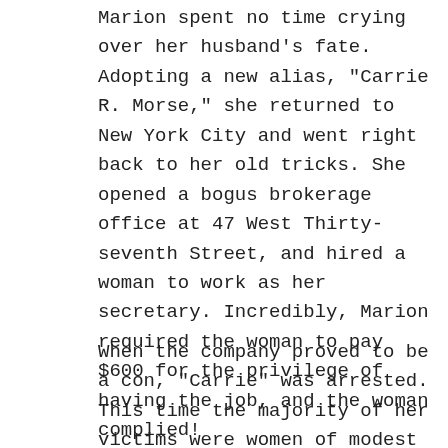Marion spent no time crying over her husband's fate. Adopting a new alias, "Carrie R. Morse," she returned to New York City and went right back to her old tricks. She opened a bogus brokerage office at 47 West Thirty-seventh Street, and hired a woman to work as her secretary. Incredibly, Marion required the woman to pay $600 for the privilege of having the job, and the woman complied!
When the company proved to be a con, "Carrie" was arrested. This time the majority of her victims were women of modest means. One of them told the press of how she sold her shoe store in order to invest with Mrs. Morse. She said, through tears, that she'd been forced to put her